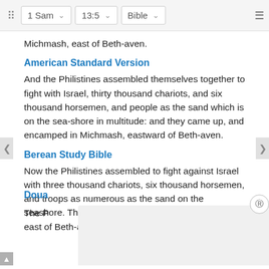1 Sam   13:5   Bible
Michmash, east of Beth-aven.
American Standard Version
And the Philistines assembled themselves together to fight with Israel, thirty thousand chariots, and six thousand horsemen, and people as the sand which is on the sea-shore in multitude: and they came up, and encamped in Michmash, eastward of Beth-aven.
Berean Study Bible
Now the Philistines assembled to fight against Israel with three thousand chariots, six thousand horsemen, and troops as numerous as the sand on the seashore. They went up and camped at Michmash, east of Beth-aven.
Doua
The P   ainst